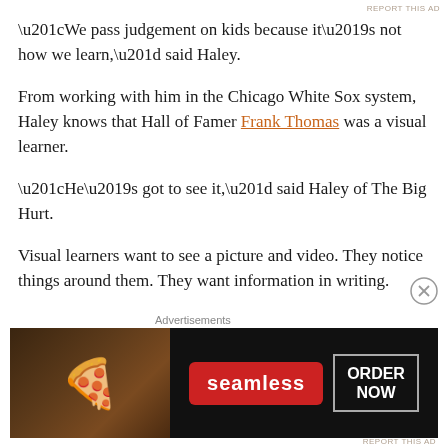“We pass judgement on kids because it’s not how we learn,” said Haley.
From working with him in the Chicago White Sox system, Haley knows that Hall of Famer Frank Thomas was a visual learner.
“He’s got to see it,” said Haley of The Big Hurt.
Visual learners want to see a picture and video. They notice things around them. They want information in writing.
A tip for this kind of learner is to use video to exaggerate the area that’s being worked on. Video can be used to anchor
[Figure (screenshot): Seamless food delivery advertisement banner with pizza image on left, Seamless logo in red badge in center, and ORDER NOW button on right against dark background]